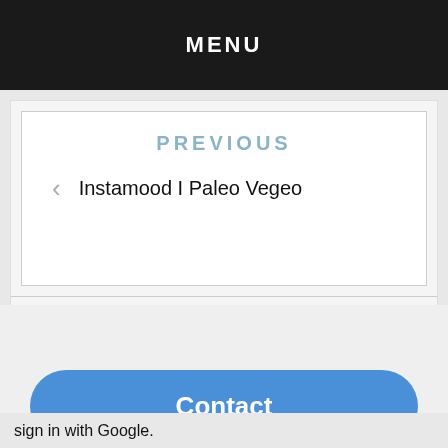MENU
PREVIOUS
< Instamood I Paleo Vegeo
Contact
sign in with Google.